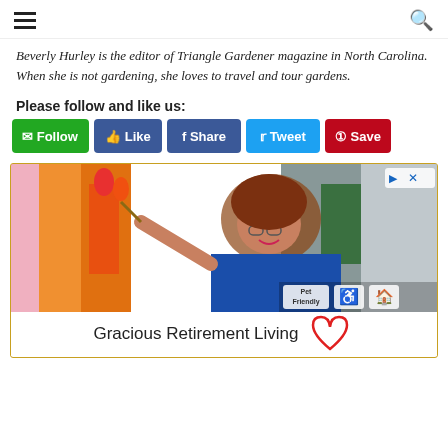[hamburger menu] [search icon]
Beverly Hurley is the editor of Triangle Gardener magazine in North Carolina. When she is not gardening, she loves to travel and tour gardens.
Please follow and like us:
[Figure (infographic): Social sharing buttons row: Follow (green), Like (blue), Share (facebook blue), Tweet (twitter blue), Save (pinterest red)]
[Figure (photo): Advertisement photo of a woman smiling and painting on a canvas with tulips. She is wearing a blue shirt. In corner: Pet Friendly, accessibility icons. Below: Gracious Retirement Living with a red heart logo.]